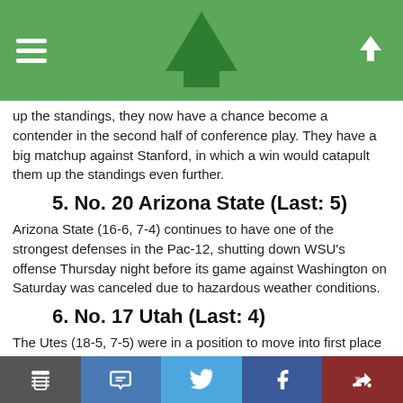Navigation header with hamburger menu, tree logo, and up arrow
up the standings, they now have a chance become a contender in the second half of conference play. They have a big matchup against Stanford, in which a win would catapult them up the standings even further.
5. No. 20 Arizona State (Last: 5)
Arizona State (16-6, 7-4) continues to have one of the strongest defenses in the Pac-12, shutting down WSU's offense Thursday night before its game against Washington on Saturday was canceled due to hazardous weather conditions.
6. No. 17 Utah (Last: 4)
The Utes (18-5, 7-5) were in a position to move into first place with one loss before playing Oregon two weeks ago. Since then, Utah has struggled mightily — they've lost four consecutive games and look vulnerable.
7. Arizona (Last: 8)
The Wildca